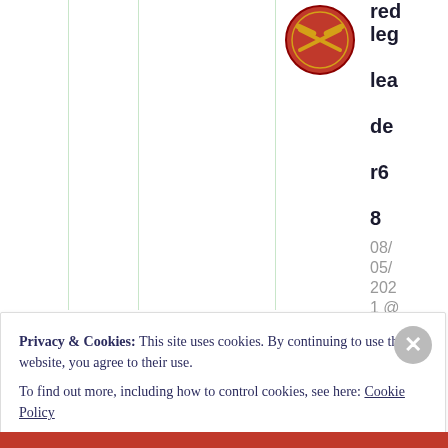[Figure (logo): Red circular military badge with crossed cannons (Field Artillery insignia)]
redleg leader68
08/05/2021 @ 05:58
Privacy & Cookies: This site uses cookies. By continuing to use this website, you agree to their use.
To find out more, including how to control cookies, see here: Cookie Policy
Close and accept